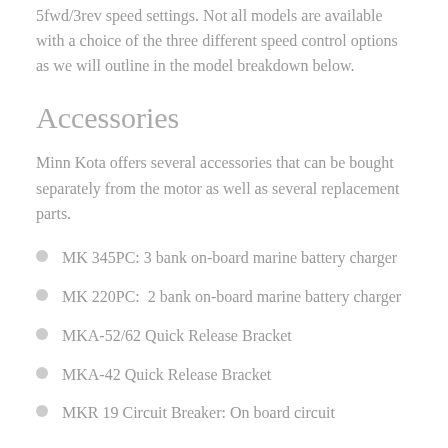5fwd/3rev speed settings. Not all models are available with a choice of the three different speed control options as we will outline in the model breakdown below.
Accessories
Minn Kota offers several accessories that can be bought separately from the motor as well as several replacement parts.
MK 345PC: 3 bank on-board marine battery charger
MK 220PC:  2 bank on-board marine battery charger
MKA-52/62 Quick Release Bracket
MKA-42 Quick Release Bracket
MKR 19 Circuit Breaker: On board circuit